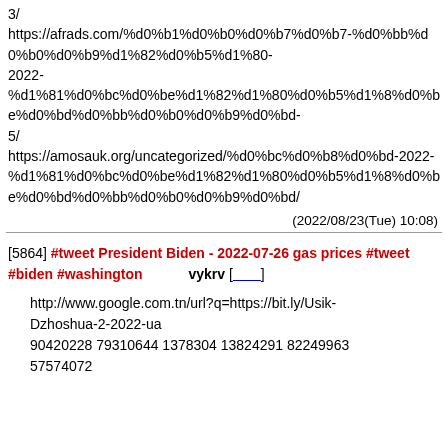3/
https://afrads.com/%d0%b1%d0%b0%d0%b7%d0%b7-%d0%bb%d0%b0%d0%b9%d1%82%d0%b5%d1%80-2022-%d1%81%d0%bc%d0%be%d1%82%d1%80%d0%b5%d1%8%d0%be%d0%bd%d0%bb%d0%b0%d0%b9%d0%bd-5/
https://amosauk.org/uncategorized/%d0%bc%d0%b8%d0%bd-2022-%d1%81%d0%bc%d0%be%d1%82%d1%80%d0%b5%d1%8%d0%be%d0%bd%d0%bb%d0%b0%d0%b9%d0%bd/
(2022/08/23(Tue) 10:08)
[5864] #tweet President Biden - 2022-07-26 gas prices #tweet #biden #washington 　　　vykrv [　　]
http://www.google.com.tn/url?q=https://bit.ly/Usik-Dzhoshua-2-2022-ua
90420228 79310644 1378304 13824291 82249963
57574072